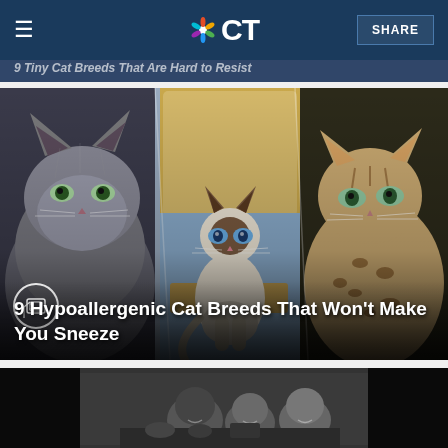CT (NBC Connecticut) — SHARE
9 Tiny Cat Breeds That Are Hard to Resist
[Figure (photo): Composite image of three cats: a fluffy grey cat with green eyes on the left, a Siamese cat sitting on an ornate chair in the center, and a spotted/tabby cat on the right]
9 Hypoallergenic Cat Breeds That Won't Make You Sneeze
[Figure (photo): Black and white photo of people smiling, partially visible at bottom of page]